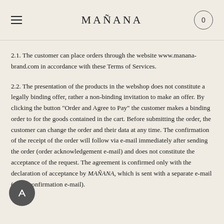MAÑANA
2.1. The customer can place orders through the website www.manana-brand.com in accordance with these Terms of Services.
2.2. The presentation of the products in the webshop does not constitute a legally binding offer, rather a non-binding invitation to make an offer. By clicking the button "Order and Agree to Pay" the customer makes a binding order to for the goods contained in the cart. Before submitting the order, the customer can change the order and their data at any time. The confirmation of the receipt of the order will follow via e-mail immediately after sending the order (order acknowledgement e-mail) and does not constitute the acceptance of the request. The agreement is confirmed only with the declaration of acceptance by MAÑANA, which is sent with a separate e-mail (order confirmation e-mail).